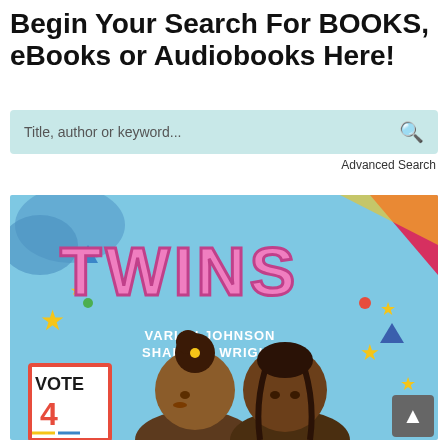Begin Your Search For BOOKS, eBooks or Audiobooks Here!
[Figure (screenshot): Search bar with placeholder text 'Title, author or keyword...' and a search icon on a light teal background, followed by 'Advanced Search' link]
[Figure (illustration): Book cover for 'TWINS' by Varian Johnson and Shannon Wright. Illustrated cover showing two young Black girls back-to-back on a light blue background with stars, colorful shapes, and a 'VOTE 4' sign. The title 'TWINS' is in large pink bubble letters.]